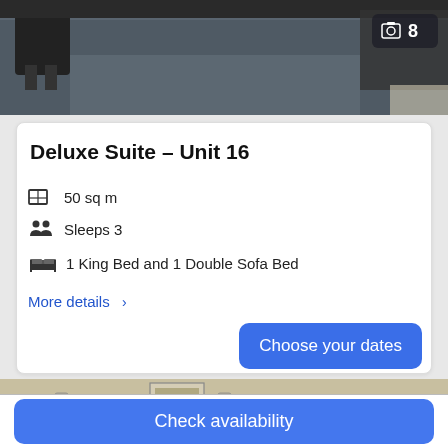[Figure (photo): Top portion of hotel room photo showing dark carpet floor and office chair, with image count badge showing 8]
Deluxe Suite – Unit 16
50 sq m
Sleeps 3
1 King Bed and 1 Double Sofa Bed
More details >
Choose your dates
[Figure (photo): Bottom portion of hotel room photo showing bed headboard, pillows, wall with outlets and framed picture]
Check availability